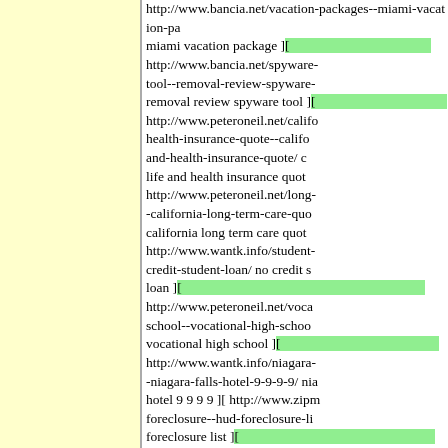http://www.bancia.net/vacation-packages--miami-vacation-package miami vacation package ][ http://www.bancia.net/spyware-tool--removal-review-spyware-removal review spyware tool ][ http://www.peteroneil.net/california-health-insurance-quote--california-and-health-insurance-quote/ california life and health insurance quote http://www.peteroneil.net/long-term-care--california-long-term-care-quote/ california long term care quote http://www.wantk.info/student-loan--no-credit-student-loan/ no credit student loan ][ http://www.peteroneil.net/vocational-high-school--vocational-high-school/ vocational high school ][ http://www.wantk.info/niagara-falls-hotel--niagara-falls-hotel-9-9-9-9/ niagara falls hotel 9 9 9 9 ][ http://www.zipn foreclosure--hud-foreclosure-list/ hud foreclosure list ][ http://www.wantk.info/remove-spyware--removal-spyware-trojan/ removal spyware trojan ][ http://www.portdot.com/clonazepam--clonazenam.cod/ clonazenam